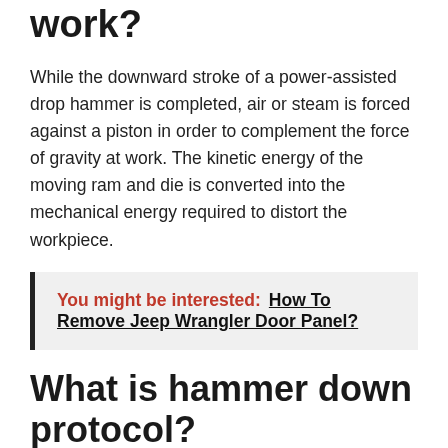work?
While the downward stroke of a power-assisted drop hammer is completed, air or steam is forced against a piston in order to complement the force of gravity at work. The kinetic energy of the moving ram and die is converted into the mechanical energy required to distort the workpiece.
You might be interested: How To Remove Jeep Wrangler Door Panel?
What is hammer down protocol?